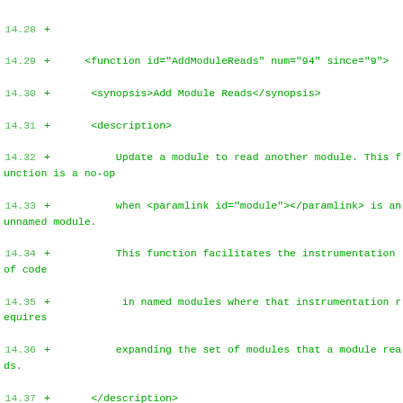14.28 + 
14.29 +     <function id="AddModuleReads" num="94" since="9">
14.30 +      <synopsis>Add Module Reads</synopsis>
14.31 +      <description>
14.32 +          Update a module to read another module. This function is a no-op
14.33 +          when <paramlink id="module"></paramlink> is an unnamed module.
14.34 +          This function facilitates the instrumentation of code
14.35 +           in named modules where that instrumentation requires
14.36 +          expanding the set of modules that a module reads.
14.37 +      </description>
14.38 +      <origin>new</origin>
14.39 +      <capabilities>
14.40 +      </capabilities>
14.41 +      <parameters>
14.42 +          <param id="module">
14.43 +              <ptrtype><jobject/></ptrtype>
14.44 +          <description>
14.45 +              The module to update.
14.46 +          </description>